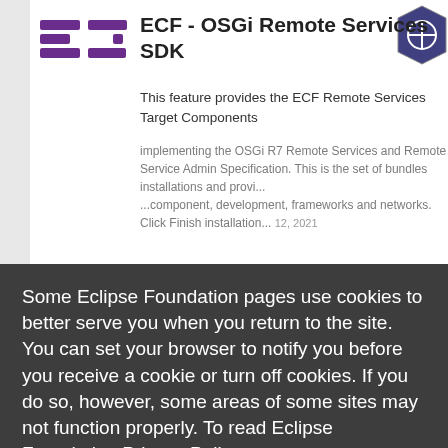[Figure (logo): ECF logo in purple with three horizontal lines forming ECF letters]
ECF - OSGi Remote Services SDK
This feature provides the ECF Remote Services Target Components implementing the OSGi R7 Remote Services and Remote Service Admin Specification. This is the set of bundles installations and provi... ...component development, frameworks and networks. Click Finish installation...
Some Eclipse Foundation pages use cookies to better serve you when you return to the site. You can set your browser to notify you before you receive a cookie or turn off cookies. If you do so, however, some areas of some sites may not function properly. To read Eclipse Foundation Privacy Policy click here.
[Figure (logo): eTrice logo in dark blue/black stylized letters]
eTrice
eTrice provides an implementation of the ROOM modeling language